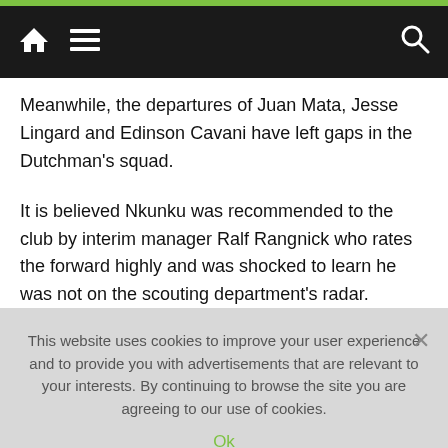Navigation bar with home, menu, and search icons
Meanwhile, the departures of Juan Mata, Jesse Lingard and Edinson Cavani have left gaps in the Dutchman's squad.
It is believed Nkunku was recommended to the club by interim manager Ralf Rangnick who rates the forward highly and was shocked to learn he was not on the scouting department's radar.
Chelsea, meanwhile, have also been linked with a move for the versatile forward and had considered him as a
This website uses cookies to improve your user experience and to provide you with advertisements that are relevant to your interests. By continuing to browse the site you are agreeing to our use of cookies.
Ok